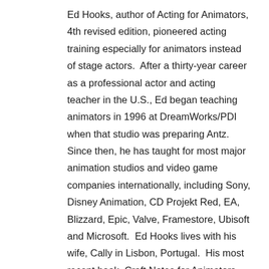Ed Hooks, author of Acting for Animators, 4th revised edition, pioneered acting training especially for animators instead of stage actors.  After a thirty-year career as a professional actor and acting teacher in the U.S., Ed began teaching animators in 1996 at DreamWorks/PDI when that studio was preparing Antz.  Since then, he has taught for most major animation studios and video game companies internationally, including Sony, Disney Animation, CD Projekt Red, EA, Blizzard, Epic, Valve, Framestore, Ubisoft and Microsoft.  Ed Hooks lives with his wife, Cally in Lisbon, Portugal.  His most recent book, Craft Notes for Animators – A Perspective on a 21st Century Career – is also published by Routledge.
For more information, see Ed's personal website: